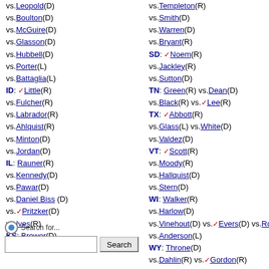vs.Leopold(D)
vs.Boulton(D)
vs.McGuire(D)
vs.Glasson(D)
vs.Hubbell(D)
vs.Porter(L)
vs.Battaglia(L)
ID: ✓Little(R)
vs.Fulcher(R)
vs.Labrador(R)
vs.Ahlquist(R)
vs.Minton(D)
vs.Jordan(D)
IL: Rauner(R)
vs.Kennedy(D)
vs.Pawar(D)
vs.Daniel Biss (D)
vs.✓Pritzker(D)
vs.Ives(R)
KS: Brewer(D)
vs.Hartman (R)
vs.Templeton(R)
vs.Smith(D)
vs.Warren(D)
vs.Bryant(R)
SD: ✓Noem(R)
vs.Jackley(R)
vs.Sutton(D)
TN: Green(R) vs.Dean(D)
vs.Black(R) vs.✓Lee(R)
TX: ✓Abbott(R)
vs.Glass(L) vs.White(D)
vs.Valdez(D)
VT: ✓Scott(R)
vs.Moody(R)
vs.Hallquist(D)
vs.Stern(D)
WI: Walker(R)
vs.Harlow(D)
vs.Vinehout(D) vs.✓Evers(D) vs.Roys(D)
vs.Anderson(L)
WY: Throne(D)
vs.Dahlin(R) vs.✓Gordon(R)
vs.Rammell(R)